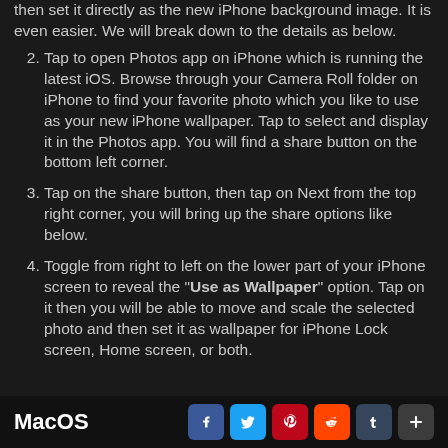then set it directly as the new iPhone background image. It is even easier. We will break down to the details as below.
Tap to open Photos app on iPhone which is running the latest iOS. Browse through your Camera Roll folder on iPhone to find your favorite photo which you like to use as your new iPhone wallpaper. Tap to select and display it in the Photos app. You will find a share button on the bottom left corner.
Tap on the share button, then tap on Next from the top right corner, you will bring up the share options like below.
Toggle from right to left on the lower part of your iPhone screen to reveal the "Use as Wallpaper" option. Tap on it then you will be able to move and scale the selected photo and then set it as wallpaper for iPhone Lock screen, Home screen, or both.
MacOS